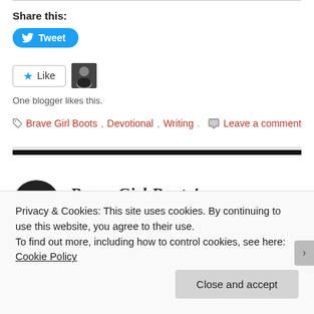Share this:
Tweet
Like
One blogger likes this.
Brave Girl Boots, Devotional, Writing.
Leave a comment
23
Brave Girl Boots!
Privacy & Cookies: This site uses cookies. By continuing to use this website, you agree to their use.
To find out more, including how to control cookies, see here: Cookie Policy
Close and accept